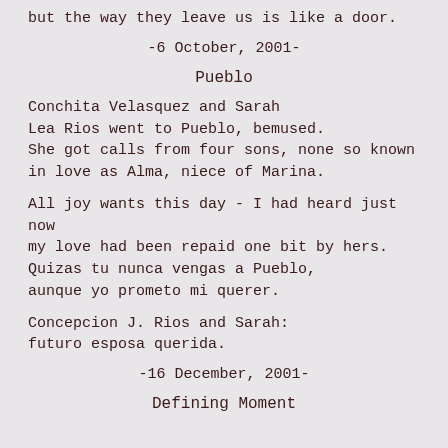but the way they leave us is like a door.
-6 October, 2001-
Pueblo
Conchita Velasquez and Sarah
Lea Rios went to Pueblo, bemused.
She got calls from four sons, none so known
in love as Alma, niece of Marina.
All joy wants this day - I had heard just now
my love had been repaid one bit by hers.
Quizas tu nunca vengas a Pueblo,
aunque yo prometo mi querer.
Concepcion J. Rios and Sarah:
futuro esposa querida.
-16 December, 2001-
Defining Moment